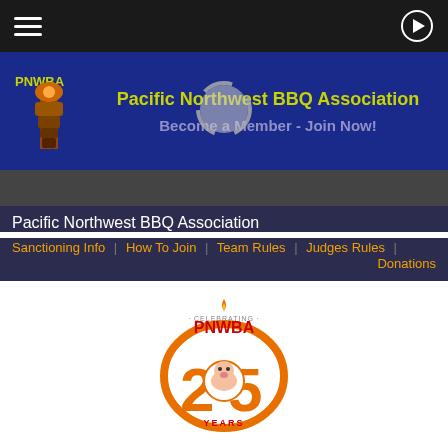Pacific Northwest BBQ Association - Become a Member - Join Now!
Pacific Northwest BBQ Association
Sanctioning Info  |  How To Join  |  Team Rules  |  Judges Rules  |  Donations
[Figure (logo): PNWBA 25 Years Anniversary Celebrating logo with flame, totem pole and stylized 25]
25th Anniversary Kickoff